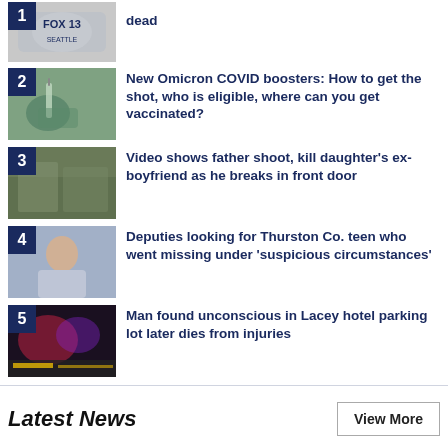dead
New Omicron COVID boosters: How to get the shot, who is eligible, where can you get vaccinated?
Video shows father shoot, kill daughter's ex-boyfriend as he breaks in front door
Deputies looking for Thurston Co. teen who went missing under 'suspicious circumstances'
Man found unconscious in Lacey hotel parking lot later dies from injuries
Latest News
View More